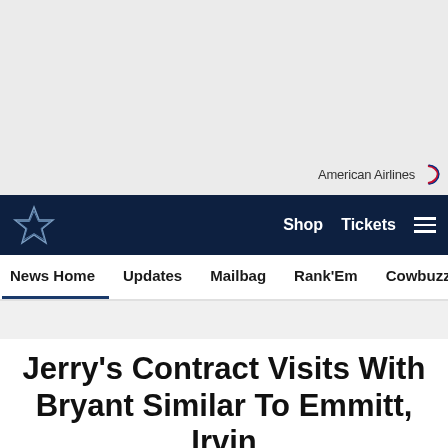[Figure (logo): American Airlines logo with text and red/blue swoosh icon in grey banner area]
Dallas Cowboys navigation bar with star logo, Shop, Tickets, and hamburger menu
News Home | Updates | Mailbag | Rank'Em | Cowbuzz | Past/Pres
Jerry's Contract Visits With Bryant Similar To Emmitt, Irvin